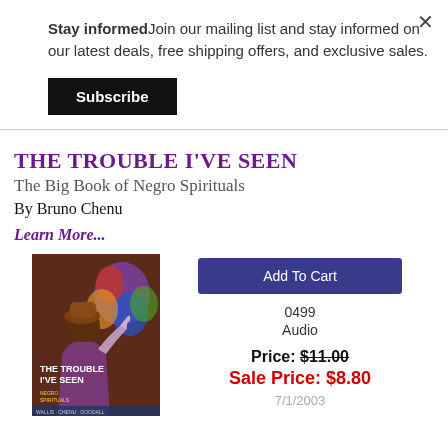Stay informedJoin our mailing list and stay informed on our latest deals, free shipping offers, and exclusive sales.
Subscribe
THE TROUBLE I'VE SEEN
The Big Book of Negro Spirituals
By Bruno Chenu
Learn More...
[Figure (photo): Book cover of 'The Trouble I've Seen' showing a person singing joyfully with colorful stained glass in the background]
Add To Cart
0499
Audio
Price: $11.00
Sale Price: $8.80
7/1/2003